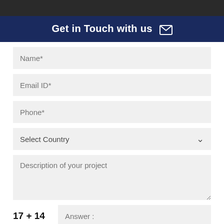[Figure (photo): Dark background image at top of page]
Get in Touch with us ✉
Name*
Email ID*
Phone*
Select Country
Description of your project
17 + 14   Answer :
SUBMIT